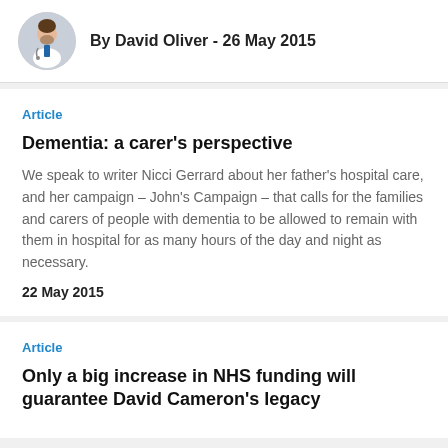By David Oliver - 26 May 2015
Article
Dementia: a carer's perspective
We speak to writer Nicci Gerrard about her father's hospital care, and her campaign – John's Campaign – that calls for the families and carers of people with dementia to be allowed to remain with them in hospital for as many hours of the day and night as necessary.
22 May 2015
Article
Only a big increase in NHS funding will guarantee David Cameron's legacy